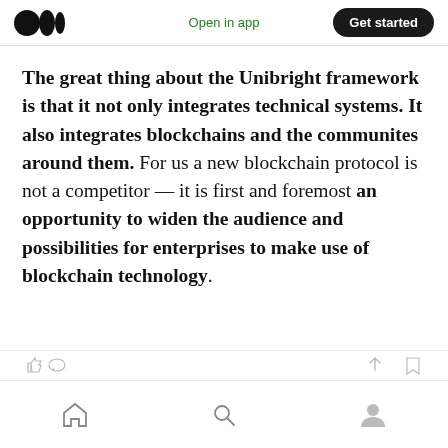Medium logo | Open in app | Get started
The great thing about the Unibright framework is that it not only integrates technical systems. It also integrates blockchains and the communites around them. For us a new blockchain protocol is not a competitor — it is first and foremost an opportunity to widen the audience and possibilities for enterprises to make use of blockchain technology.
Home | Search | Profile